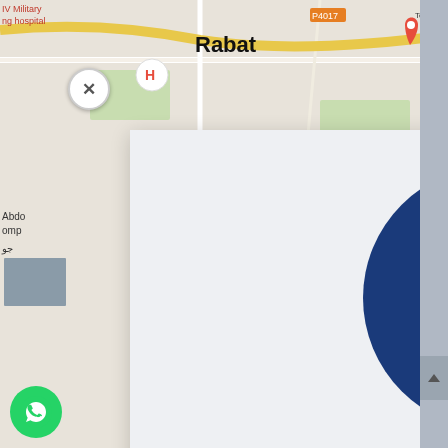[Figure (screenshot): Screenshot of a website with a Google Maps background showing Rabat, overlaid by a newsletter subscription popup modal with a dark blue circle containing an open envelope icon, bold title 'Subscribe To Our Newsletter', subtitle text, and a zigzag wave footer in navy blue.]
Subscribe To Our Newsletter
Join our mailing list to receive the latest news and updates from our team.